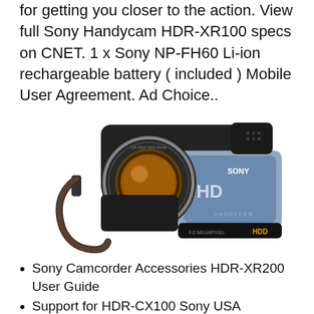for getting you closer to the action. View full Sony Handycam HDR-XR100 specs on CNET. 1 x Sony NP-FH60 Li-ion rechargeable battery ( included ) Mobile User Agreement. Ad Choice..
[Figure (photo): Sony Handycam HDR camcorder with HD label, silver and black body, large lens, wrist strap, Sony and Handycam branding visible]
Sony Camcorder Accessories HDR-XR200 User Guide
Support for HDR-CX100 Sony USA